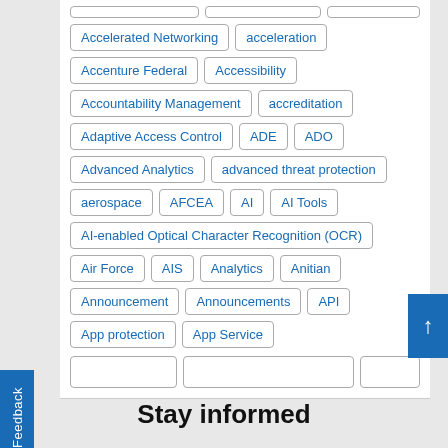Accelerated Networking
acceleration
Accenture Federal
Accessibility
Accountability Management
accreditation
Adaptive Access Control
ADE
ADO
Advanced Analytics
advanced threat protection
aerospace
AFCEA
AI
AI Tools
AI-enabled Optical Character Recognition (OCR)
Air Force
AIS
Analytics
Anitian
Announcement
Announcements
API
App protection
App Service
Stay informed